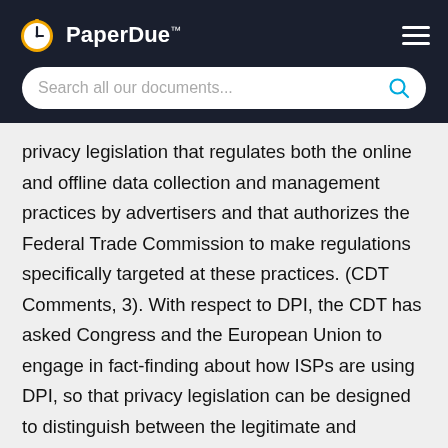PaperDue™
privacy legislation that regulates both the online and offline data collection and management practices by advertisers and that authorizes the Federal Trade Commission to make regulations specifically targeted at these practices. (CDT Comments, 3). With respect to DPI, the CDT has asked Congress and the European Union to engage in fact-finding about how ISPs are using DPI, so that privacy legislation can be designed to distinguish between the legitimate and illegitimate uses of DPI. (CDT Comments, 5-6)
Conclusion